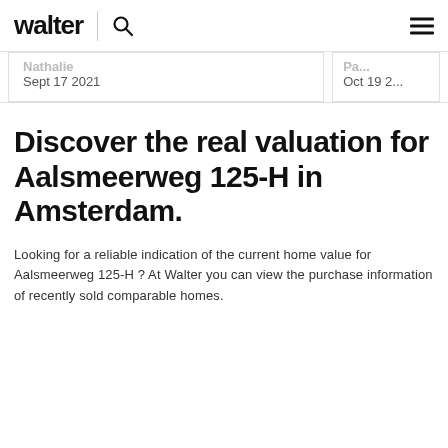walter
Nathalie
Sept 17 2021
Oct 19 2...
Discover the real valuation for Aalsmeerweg 125-H in Amsterdam.
Looking for a reliable indication of the current home value for Aalsmeerweg 125-H ? At Walter you can view the purchase information of recently sold comparable homes.